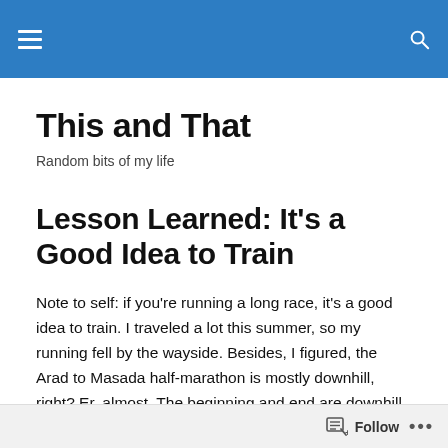[Navigation header bar with hamburger menu and search icon]
This and That
Random bits of my life
Lesson Learned: It’s a Good Idea to Train
Note to self: if you’re running a long race, it’s a good idea to train. I traveled a lot this summer, so my running fell by the wayside. Besides, I figured, the Arad to Masada half-marathon is mostly downhill, right? Er, almost. The beginning and end are downhill but in the middle, there
Follow •••